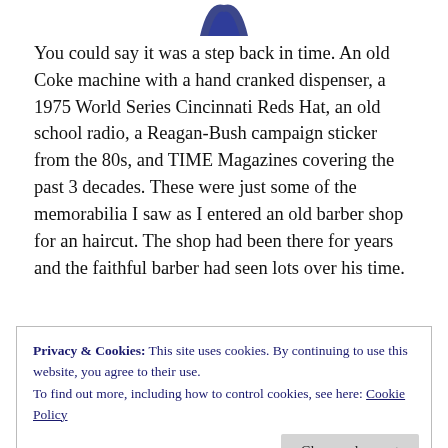[Figure (logo): Partial logo image at top center, dark blue curved shape visible]
You could say it was a step back in time. An old Coke machine with a hand cranked dispenser, a 1975 World Series Cincinnati Reds Hat, an old school radio, a Reagan-Bush campaign sticker from the 80s, and TIME Magazines covering the past 3 decades. These were just some of the memorabilia I saw as I entered an old barber shop for an haircut. The shop had been there for years and the faithful barber had seen lots over his time.
Privacy & Cookies: This site uses cookies. By continuing to use this website, you agree to their use.
To find out more, including how to control cookies, see here: Cookie Policy
Close and accept
young fella like you come to an old barber shop like